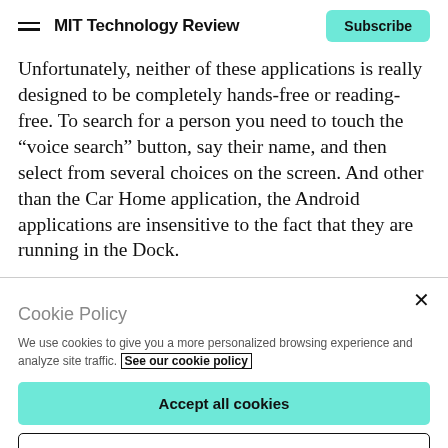MIT Technology Review | Subscribe
Unfortunately, neither of these applications is really designed to be completely hands-free or reading-free. To search for a person you need to touch the “voice search” button, say their name, and then select from several choices on the screen. And other than the Car Home application, the Android applications are insensitive to the fact that they are running in the Dock.
Cookie Policy
We use cookies to give you a more personalized browsing experience and analyze site traffic. See our cookie policy
Accept all cookies
Cookies settings